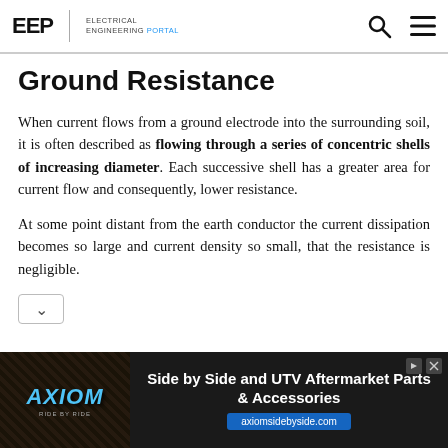EEP | Electrical Engineering Portal
Ground Resistance
When current flows from a ground electrode into the surrounding soil, it is often described as flowing through a series of concentric shells of increasing diameter. Each successive shell has a greater area for current flow and consequently, lower resistance.
At some point distant from the earth conductor the current dissipation becomes so large and current density so small, that the resistance is negligible.
[Figure (other): Advertisement banner for AXIOM with text: Side by Side and UTV Aftermarket Parts & Accessories, axiomvsidebyside.com]